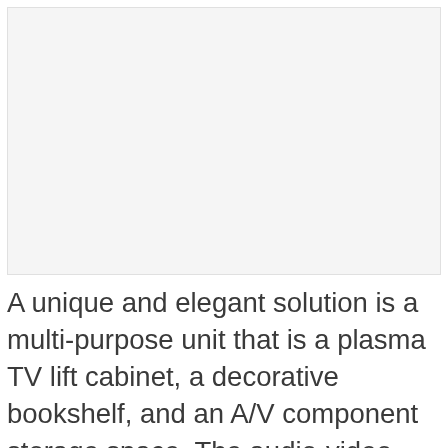[Figure (photo): Image placeholder area at top of page]
A unique and elegant solution is a multi-purpose unit that is a plasma TV lift cabinet, a decorative bookshelf, and an A/V component storage space. The audio-video professional works with a custom cabinet maker and motorized lift manufacturer to develop and implement the project which will delight the most discerning